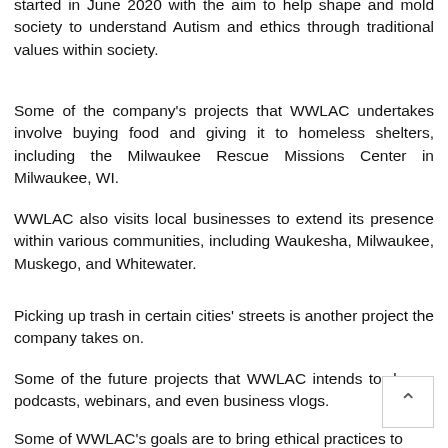started in June 2020 with the aim to help shape and mold society to understand Autism and ethics through traditional values within society.
Some of the company's projects that WWLAC undertakes involve buying food and giving it to homeless shelters, including the Milwaukee Rescue Missions Center in Milwaukee, WI.
WWLAC also visits local businesses to extend its presence within various communities, including Waukesha, Milwaukee, Muskego, and Whitewater.
Picking up trash in certain cities' streets is another project the company takes on.
Some of the future projects that WWLAC intends to do are podcasts, webinars, and even business vlogs.
Some of WWLAC's goals are to bring ethical practices to